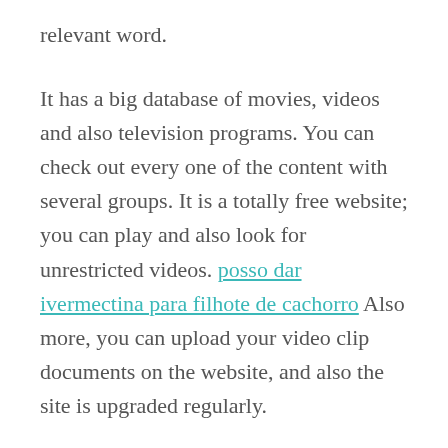relevant word.
It has a big database of movies, videos and also television programs. You can check out every one of the content with several groups. It is a totally free website; you can play and also look for unrestricted videos. posso dar ivermectina para filhote de cachorro Also more, you can upload your video clip documents on the website, and also the site is upgraded regularly.
1.  Watch32.